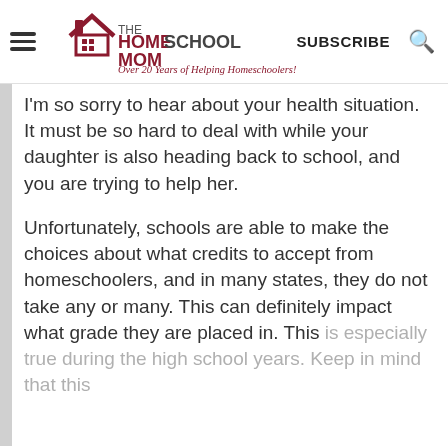THE HOMESCHOOL MOM — Over 20 Years of Helping Homeschoolers! | SUBSCRIBE
I'm so sorry to hear about your health situation. It must be so hard to deal with while your daughter is also heading back to school, and you are trying to help her.
Unfortunately, schools are able to make the choices about what credits to accept from homeschoolers, and in many states, they do not take any or many. This can definitely impact what grade they are placed in. This is especially true during the high school years. Keep in mind that this